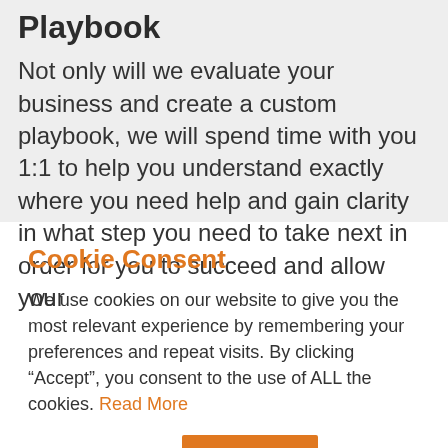Playbook
Not only will we evaluate your business and create a custom playbook, we will spend time with you 1:1 to help you understand exactly where you need help and gain clarity in what step you need to take next in order for you to succeed and allow your
Cookie Consent
We use cookies on our website to give you the most relevant experience by remembering your preferences and repeat visits. By clicking “Accept”, you consent to the use of ALL the cookies. Read More
Cookie settings  Accept